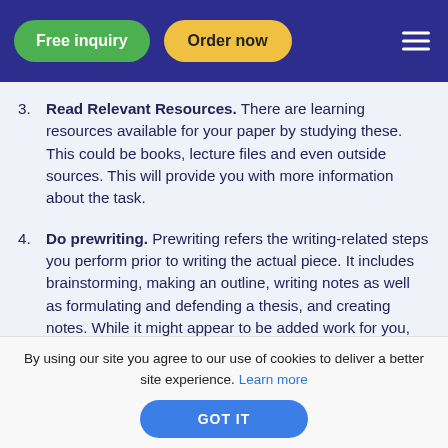Free inquiry | Order now
3. Read Relevant Resources. There are learning resources available for your paper by studying these. This could be books, lecture files and even outside sources. This will provide you with more information about the task.
4. Do prewriting. Prewriting refers the writing-related steps you perform prior to writing the actual piece. It includes brainstorming, making an outline, writing notes as well as formulating and defending a thesis, and creating notes. While it might appear to be added work for you, any serious writer will tell you that doing
By using our site you agree to our use of cookies to deliver a better site experience. Learn more
GOT IT